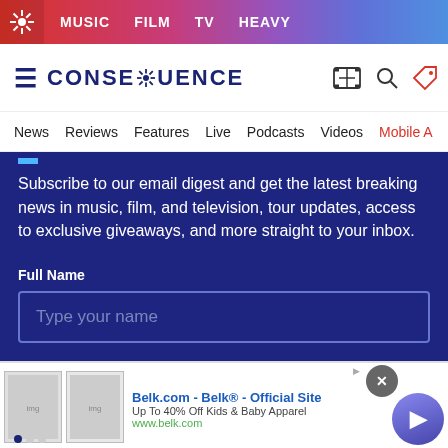MUSIC  FILM  TV  HEAVY
CONSE[flower]UENCE
News  Reviews  Features  Live  Podcasts  Videos  Mobile A
Subscribe to our email digest and get the latest breaking news in music, film, and television, tour updates, access to exclusive giveaways, and more straight to your inbox.
Full Name
Type your name
Belk.com - Belk® - Official Site
Up To 40% Off Kids & Baby Apparel
www.belk.com